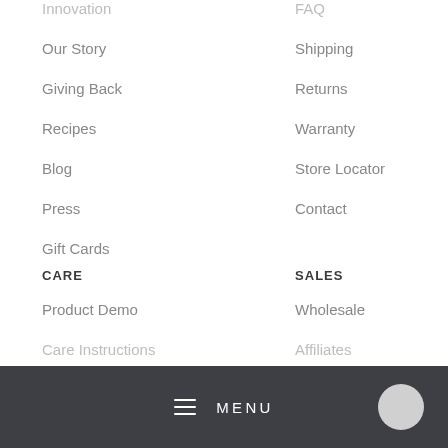Innovation
Our Story
Giving Back
Recipes
Blog
Press
Gift Cards
FAQ
Shipping
Returns
Warranty
Store Locator
Contact
CARE
Product Demo
Care Instructions
SALES
Wholesale
Affiliates
MENU